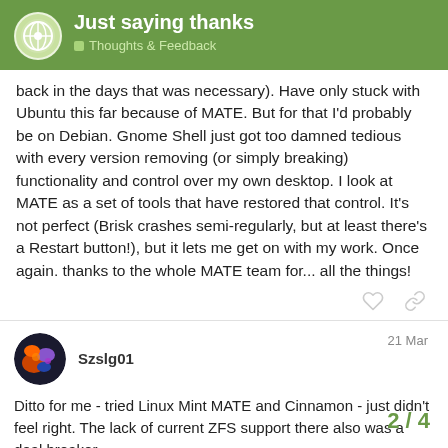Just saying thanks | Thoughts & Feedback
back in the days that was necessary). Have only stuck with Ubuntu this far because of MATE. But for that I'd probably be on Debian. Gnome Shell just got too damned tedious with every version removing (or simply breaking) functionality and control over my own desktop. I look at MATE as a set of tools that have restored that control. It's not perfect (Brisk crashes semi-regularly, but at least there's a Restart button!), but it lets me get on with my work. Once again. thanks to the whole MATE team for... all the things!
Szslg01   21 Mar
Ditto for me - tried Linux Mint MATE and Cinnamon - just didn't feel right. The lack of current ZFS support there also was a deal breaker.
I find the "Redmond" desktop layout just s
2 / 4